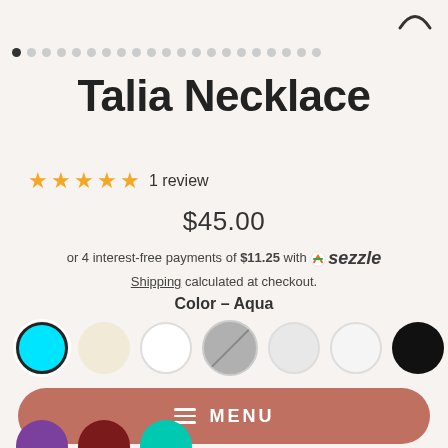[Figure (illustration): Partial circle/smiley icon in top right corner]
[Figure (illustration): Dot carousel indicator row with first dot filled/dark and remaining dots light gray]
Talia Necklace
★★★★★ 1 review
$45.00
or 4 interest-free payments of $11.25 with Sezzle
Shipping calculated at checkout.
Color – Aqua
[Figure (illustration): Color swatches: Aqua (selected, with dark border), Cream, White, Silver/Gray (with diagonal line), Light Gray, White, Black]
MENU
[Figure (illustration): Bottom partial color swatches: purple, dark red, teal]